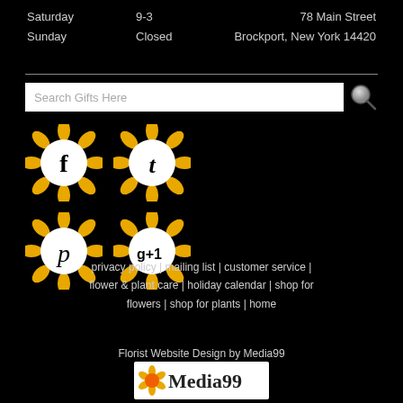Saturday   9-3   78 Main Street
Sunday   Closed   Brockport, New York 14420
[Figure (screenshot): Search bar with magnifying glass icon labeled 'Search Gifts Here']
[Figure (infographic): Four sunflower-styled social media icons: Facebook (f), Twitter (t), Pinterest (p), Google+1]
privacy policy | mailing list | customer service | flower & plant care | holiday calendar | shop for flowers | shop for plants | home
Florist Website Design by Media99
[Figure (logo): Media99 logo with orange flower and text 'Media99' on white background]